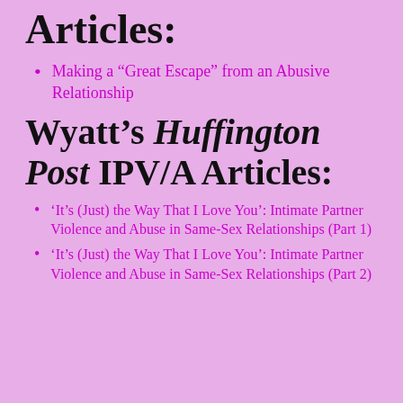Articles:
Making a “Great Escape” from an Abusive Relationship
Wyatt’s Huffington Post IPV/A Articles:
‘It’s (Just) the Way That I Love You’: Intimate Partner Violence and Abuse in Same-Sex Relationships (Part 1)
‘It’s (Just) the Way That I Love You’: Intimate Partner Violence and Abuse in Same-Sex Relationships (Part 2)